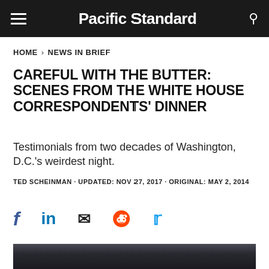Pacific Standard
HOME > NEWS IN BRIEF
CAREFUL WITH THE BUTTER: SCENES FROM THE WHITE HOUSE CORRESPONDENTS' DINNER
Testimonials from two decades of Washington, D.C.'s weirdest night.
TED SCHEINMAN · UPDATED: NOV 27, 2017 · ORIGINAL: MAY 2, 2014
[Figure (infographic): Social sharing icons: Facebook, LinkedIn, Email, Reddit, Twitter]
[Figure (photo): Photographers with large camera lenses and equipment at an event]